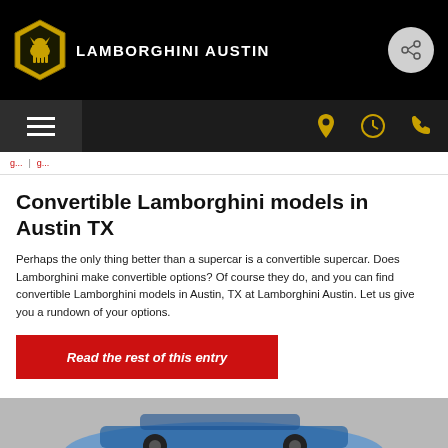Lamborghini Austin
Convertible Lamborghini models in Austin TX
Perhaps the only thing better than a supercar is a convertible supercar. Does Lamborghini make convertible options? Of course they do, and you can find convertible Lamborghini models in Austin, TX at Lamborghini Austin. Let us give you a rundown of your options.
Read the rest of this entry
[Figure (photo): Bottom portion of a blue Lamborghini convertible car on a grey background]